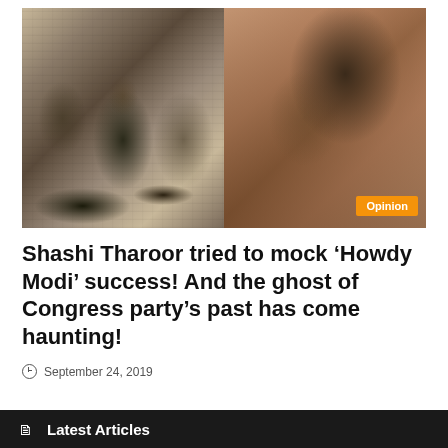[Figure (photo): Split image: left half shows a black-and-white historical photo of a political figure in a crowd (likely Nehru era), right half shows a color photo of Shashi Tharoor. Orange 'Opinion' badge overlaid on bottom right.]
Shashi Tharoor tried to mock ‘Howdy Modi’ success! And the ghost of Congress party’s past has come haunting!
September 24, 2019
Latest Articles